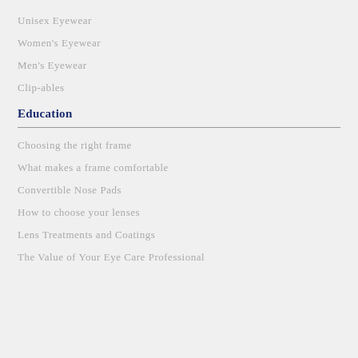Unisex Eyewear
Women's Eyewear
Men's Eyewear
Clip-ables
Education
Choosing the right frame
What makes a frame comfortable
Convertible Nose Pads
How to choose your lenses
Lens Treatments and Coatings
The Value of Your Eye Care Professional